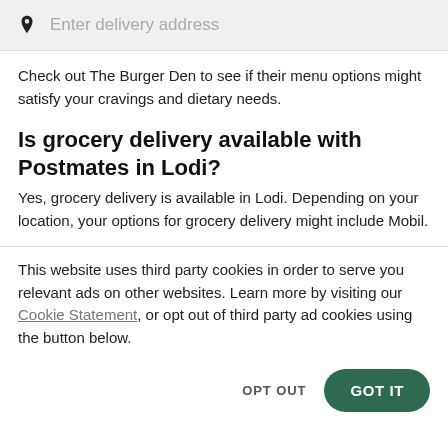[Figure (screenshot): Search bar with location pin icon and placeholder text 'Enter delivery address' on a light grey background]
Check out The Burger Den to see if their menu options might satisfy your cravings and dietary needs.
Is grocery delivery available with Postmates in Lodi?
Yes, grocery delivery is available in Lodi. Depending on your location, your options for grocery delivery might include Mobil.
This website uses third party cookies in order to serve you relevant ads on other websites. Learn more by visiting our Cookie Statement, or opt out of third party ad cookies using the button below.